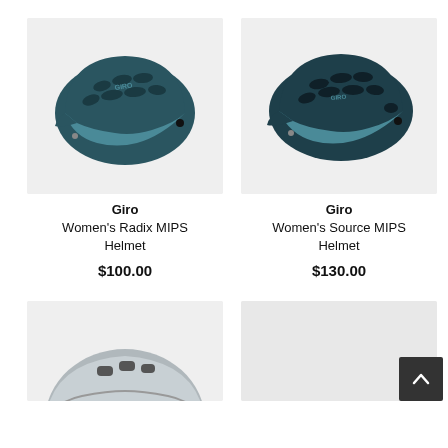[Figure (photo): Giro Women's Radix MIPS Helmet in dark teal/blue on light grey background, side view]
Giro
Women's Radix MIPS Helmet
$100.00
[Figure (photo): Giro Women's Source MIPS Helmet in dark teal/blue on light grey background, side view]
Giro
Women's Source MIPS Helmet
$130.00
[Figure (photo): Silver/grey bicycle helmet, partially visible at bottom of page]
[Figure (photo): Partial product image on right, mostly obscured]